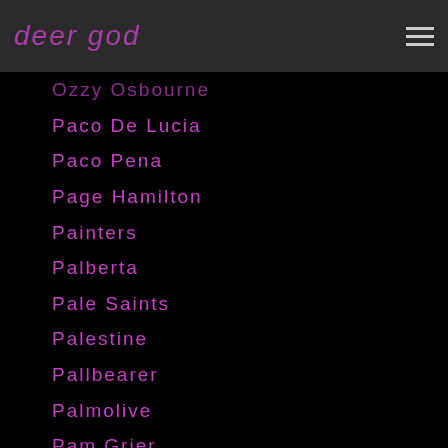dear god
Ozzy Osbourne
Paco De Lucia
Paco Pena
Page Hamilton
Painters
Palberta
Pale Saints
Palestine
Pallbearer
Palmolive
Pam Grier
Pantera
Paper Diamond
Paramore
Parasite Eve
Parks And Recreation
Parkway Drive